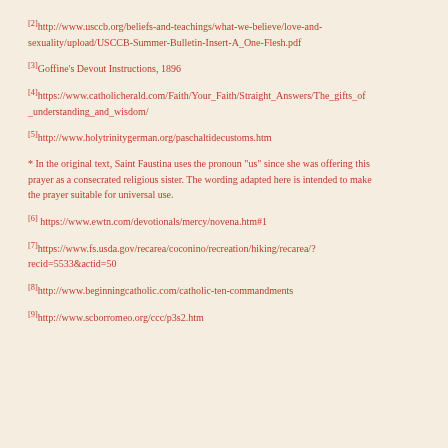[2]http://www.usccb.org/beliefs-and-teachings/what-we-believe/love-and-sexuality/upload/USCCB-Summer-Bulletin-Insert-A_One-Flesh.pdf
[3]Goffine's Devout Instructions, 1896
[4]https://www.catholicherald.com/Faith/Your_Faith/Straight_Answers/The_gifts_of_understanding_and_wisdom/
[5]http://www.holytrinitygerman.org/paschaltidecustoms.htm
* In the original text, Saint Faustina uses the pronoun "us" since she was offering this prayer as a consecrated religious sister. The wording adapted here is intended to make the prayer suitable for universal use.
[6] https://www.ewtn.com/devotionals/mercy/novena.htm#1
[7]https://www.fs.usda.gov/recarea/coconino/recreation/hiking/recarea/?recid=5533&actid=50
[8]http://www.beginningcatholic.com/catholic-ten-commandments
[9]http://www.scborromeo.org/ccc/p3s2.htm